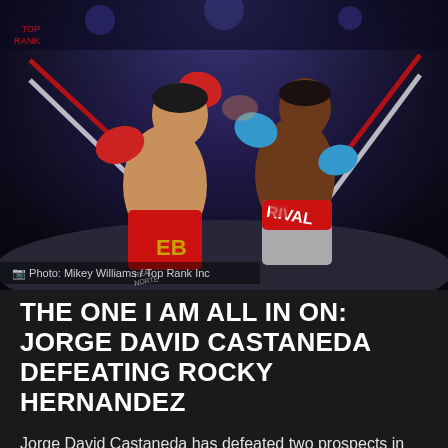[Figure (photo): Two boxers in a ring — one wearing red shorts with 'EB' logo landing a punch on the other wearing Rival gear, with red and white ropes visible in the background. Arena lighting with dark backdrop.]
Photo: Mikey Williams / Top Rank Inc
THE ONE I AM ALL IN ON: JORGE DAVID CASTANEDA DEFEATING ROCKY HERNANDEZ
Jorge David Castaneda has defeated two prospects in consecutive fights by getting a close decision win over Matchroom's Otha Jones III, as well as Youssef Khoumari at the O2 Arena in London, England. Castaneda is a high-volume puncher, and he used his superior title contention